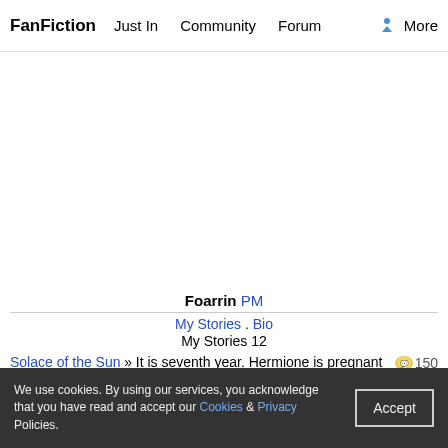FanFiction  Just In  Community  Forum  More
Foarrin PM
My Stories . Bio
My Stories 12
Solace of the Sun » It is seventh year. Hermione is pregnant with Ron's baby, which he doesn't want. Draco is in his first year of transition as a werewolf. Hermione and Draco are Head Girl and Boy. In such close quarters, maybe they'll find that the comfort they both need will come from each other. Dramione. Some Ron bashing.
Harry Potter, M, English, Romance & Hurt/Comfort, chapters: 9, words: 18k+, favs: 186, follows: 348, updated: Feb 1, 2021 published: Feb 12, 2019, [Hermione G., Draco M.]
The Lion and the Serpent » After a tattoo-like mark appears on his arm, Harry soon finds out that he and Draco Malfoy are connected by a prophecy that states the lost tombs of Gryffindor and Slytherin must be found and their souls reunited. Reluctantly, they must travel together on a journey that links two ancient civilizations. Along the way, their own love
We use cookies. By using our services, you acknowledge that you have read and accept our Cookies & Privacy Policies. Accept